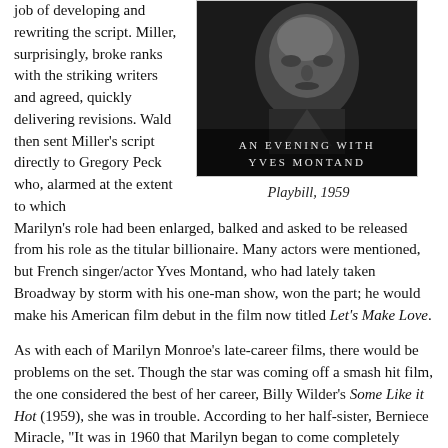job of developing and rewriting the script. Miller, surprisingly, broke ranks with the striking writers and agreed, quickly delivering revisions. Wald then sent Miller's script directly to Gregory Peck who, alarmed at the extent to which Marilyn's role had been enlarged, balked and asked to be released from his role as the titular billionaire. Many actors were mentioned, but French singer/actor Yves Montand, who had lately taken Broadway by storm with his one-man show, won the part; he would make his American film debut in the film now titled Let's Make Love.
[Figure (photo): Black and white photo of a man, with text overlay reading 'AN EVENING WITH YVES MONTAND']
Playbill, 1959
As with each of Marilyn Monroe's late-career films, there would be problems on the set. Though the star was coming off a smash hit film, the one considered the best of her career, Billy Wilder's Some Like it Hot (1959), she was in trouble. According to her half-sister, Berniece Miracle, "It was in 1960 that Marilyn began to come completely apart." She believed the drugs Marilyn had initially taken to relax and get to sleep "had turned against her," affecting her moods and ability to work.